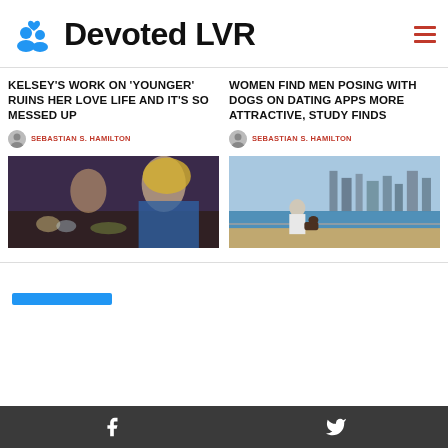[Figure (logo): Devoted LVR website header with blue people/heart icon logo and site name, plus hamburger menu icon in red]
KELSEY'S WORK ON 'YOUNGER' RUINS HER LOVE LIFE AND IT'S SO MESSED UP
SEBASTIAN S. HAMILTON
[Figure (photo): Women sitting at a restaurant table, one with blonde hair looking pensive]
WOMEN FIND MEN POSING WITH DOGS ON DATING APPS MORE ATTRACTIVE, STUDY FINDS
SEBASTIAN S. HAMILTON
[Figure (photo): Man standing on a waterfront pier with city skyline in background]
Facebook  Twitter